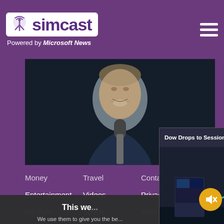[Figure (logo): Simcast logo with tower icon on white background]
Powered by Microsoft News
[Figure (photo): Man speaking into microphone on stage]
Republican reset in Arizo... backing, removes abortic...
[Figure (screenshot): Video popup: Dow Drops to Session Lows as Fed Chai... showing stock exchange floor scene with mute button overlay]
This we...
We use them to give you the be... will assume that you are...
Co...
Money
Travel
Contact Us
Entertainment
Videos
Privacy Policy
Lifestyle
Sports
Terms of Use